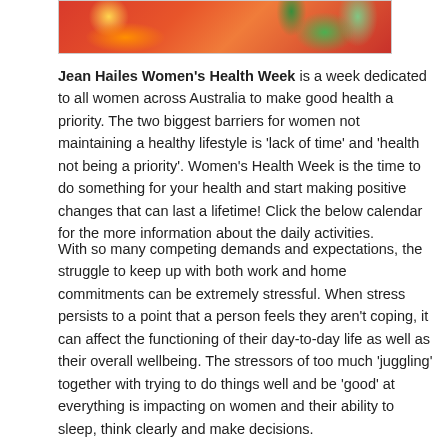[Figure (illustration): Decorative banner image with red/orange background and green leaf/floral motifs, partially visible at top of page]
Jean Hailes Women's Health Week is a week dedicated to all women across Australia to make good health a priority. The two biggest barriers for women not maintaining a healthy lifestyle is 'lack of time' and 'health not being a priority'. Women's Health Week is the time to do something for your health and start making positive changes that can last a lifetime! Click the below calendar for the more information about the daily activities.
With so many competing demands and expectations, the struggle to keep up with both work and home commitments can be extremely stressful. When stress persists to a point that a person feels they aren't coping, it can affect the functioning of their day-to-day life as well as their overall wellbeing. The stressors of too much 'juggling' together with trying to do things well and be 'good' at everything is impacting on women and their ability to sleep, think clearly and make decisions.